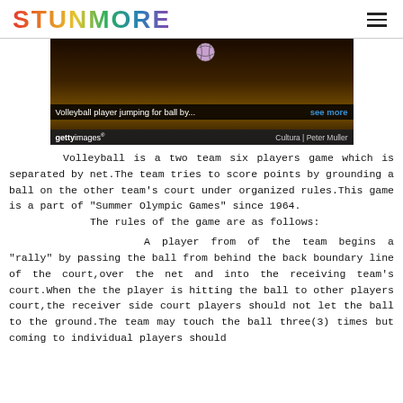STUNMORE
[Figure (photo): Volleyball player jumping for ball in dark court setting. Getty Images photo by Peter Muller / Cultura.]
Volleyball player jumping for ball by...   see more
gettyimages®   Cultura | Peter Muller
Volleyball is a two team six players game which is separated by net.The team tries to score points by grounding a ball on the other team's court under organized rules.This game is a part of "Summer Olympic Games" since 1964.
The rules of the game are as follows:
A player from of the team begins a "rally" by passing the ball from behind the back boundary line of the court,over the net and into the receiving team's court.When the the player is hitting the ball to other players court,the receiver side court players should not let the ball to the ground.The team may touch the ball three(3) times but coming to individual players should